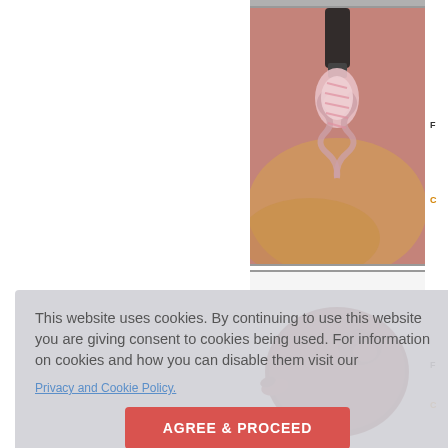[Figure (photo): Surgical/laparoscopic view showing a twisted pedicle or tubular structure being grasped with surgical instrument]
[Figure (photo): Excised dark red/maroon organ specimen (appears to be a spleen or accessory spleen) on white background]
F
C
F
C
The patient had an uneventful post-opera normal splenic components that had falle of the artery and vein that were occluded
The localisation varies widely, but the mo presented herein is one with a r torsion of the AS is also uncommon, repr
This website uses cookies. By continuing to use this website you are giving consent to cookies being used. For information on cookies and how you can disable them visit our
Privacy and Cookie Policy.
AGREE & PROCEED